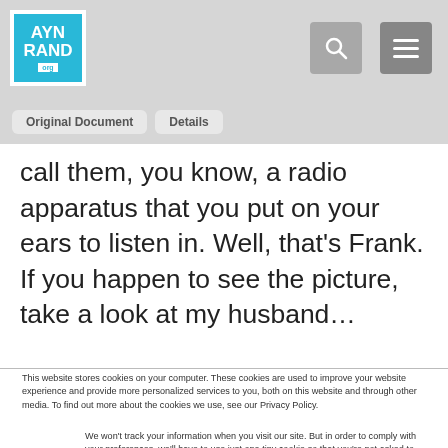AYN RAND .org
Original Document | Details
call them, you know, a radio apparatus that you put on your ears to listen in. Well, that's Frank. If you happen to see the picture, take a look at my husband...
This website stores cookies on your computer. These cookies are used to improve your website experience and provide more personalized services to you, both on this website and through other media. To find out more about the cookies we use, see our Privacy Policy.
We won't track your information when you visit our site. But in order to comply with your preferences, we'll have to use just one tiny cookie so that you're not asked to make this choice again.
Accept | Decline